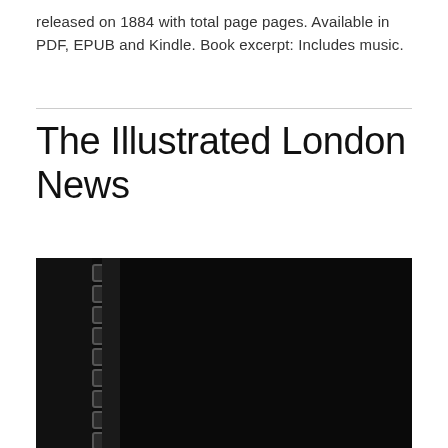released on 1884 with total page pages. Available in PDF, EPUB and Kindle. Book excerpt: Includes music.
The Illustrated London News
[Figure (photo): Dark photograph of a book cover, showing spiral binding/spine on the left side against an almost entirely black background. The book appears to be a bound volume of The Illustrated London News.]